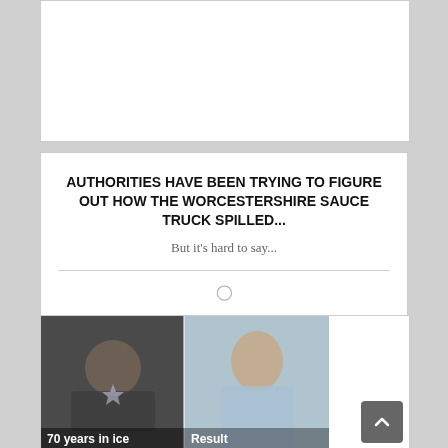[Figure (other): White rectangle placeholder (advertisement area)]
AUTHORITIES HAVE BEEN TRYING TO FIGURE OUT HOW THE WORCESTERSHIRE SAUCE TRUCK SPILLED...
But it's hard to say...
[Figure (photo): Meme image split panel: left side shows a man lying down (70 years in ice), right side shows a well-dressed man smiling (Result)]